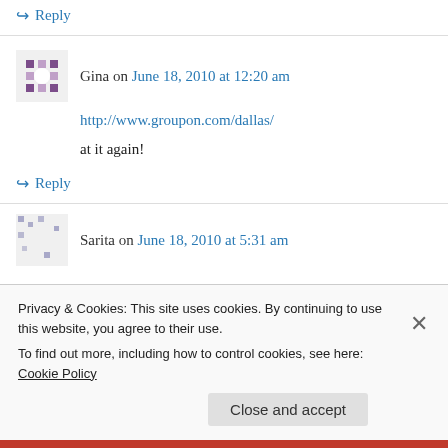↪ Reply
Gina on June 18, 2010 at 12:20 am
http://www.groupon.com/dallas/
at it again!
↪ Reply
Sarita on June 18, 2010 at 5:31 am
Privacy & Cookies: This site uses cookies. By continuing to use this website, you agree to their use. To find out more, including how to control cookies, see here: Cookie Policy
Close and accept